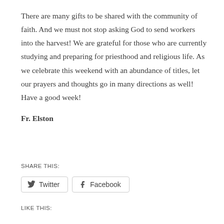There are many gifts to be shared with the community of faith.  And we must not stop asking God to send workers into the harvest!  We are grateful for those who are currently studying and preparing for priesthood and religious life. As we celebrate this weekend with an abundance of titles, let our prayers and thoughts go in many directions as well!  Have a good week!
Fr. Elston
SHARE THIS:
Twitter  Facebook
LIKE THIS: